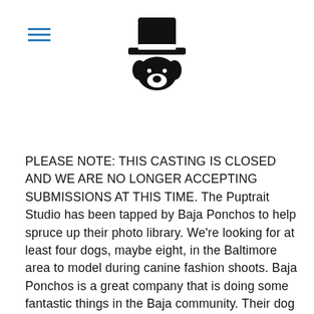[Figure (logo): Puptrait Studio logo: a dog wearing a top hat, rendered in black silhouette]
PLEASE NOTE: THIS CASTING IS CLOSED AND WE ARE NO LONGER ACCEPTING SUBMISSIONS AT THIS TIME. The Puptrait Studio has been tapped by Baja Ponchos to help spruce up their photo library. We're looking for at least four dogs, maybe eight, in the Baltimore area to model during canine fashion shoots. Baja Ponchos is a great company that is doing some fantastic things in the Baja community. Their dog ponchos are stitched from hand woven serape blankets from Guadalajara, Mexico. A portion of all […]